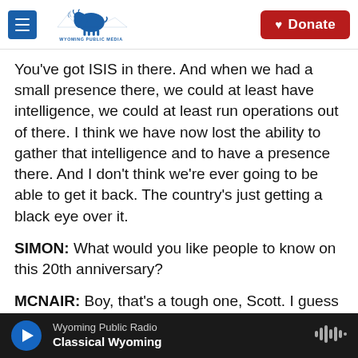Wyoming Public Media | Donate
You've got ISIS in there. And when we had a small presence there, we could at least have intelligence, we could at least run operations out of there. I think we have now lost the ability to gather that intelligence and to have a presence there. And I don't think we're ever going to be able to get it back. The country's just getting a black eye over it.
SIMON: What would you like people to know on this 20th anniversary?
MCNAIR: Boy, that's a tough one, Scott. I guess down deep, I've learned there are bad people in the
Wyoming Public Radio | Classical Wyoming